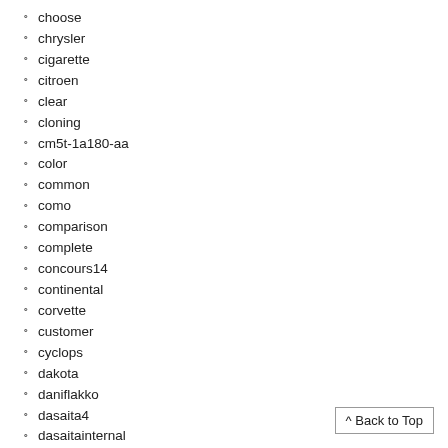choose
chrysler
cigarette
citroen
clear
cloning
cm5t-1a180-aa
color
common
como
comparison
complete
concours14
continental
corvette
customer
cyclops
dakota
daniflakko
dasaita4
dasaitainternal
dash
dashboard
dc12v
^ Back to Top